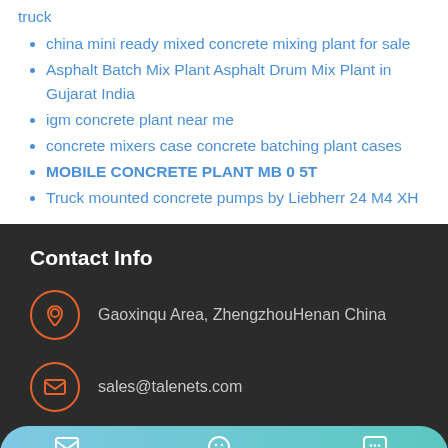truck
china mini ready mixed concrete mixing plant for sale
Asphalt Batch Mix Plant Asphalt Drum Mix Plant in Gujarat India
igm concrete plant near me
concrete mixers case concrete batching plant cases
MOBILE CONCRETE PLANT MB 0 5T
Truck mounted concrete pumps by Liebherr 24 M4 XH
Contact Info
Gaoxinqu Area, ZhengzhouHenan China
sales@talenets.com
MAIL   ADVISORY   OFFER